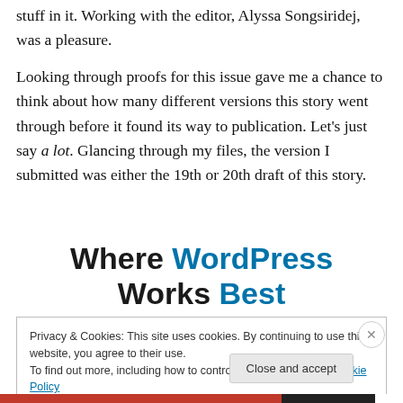stuff in it. Working with the editor, Alyssa Songsiridej, was a pleasure.
Looking through proofs for this issue gave me a chance to think about how many different versions this story went through before it found its way to publication. Let's just say a lot. Glancing through my files, the version I submitted was either the 19th or 20th draft of this story.
Where WordPress Works Best
Privacy & Cookies: This site uses cookies. By continuing to use this website, you agree to their use.
To find out more, including how to control cookies, see here: Cookie Policy